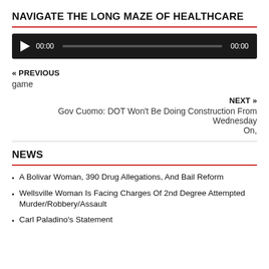NAVIGATE THE LONG MAZE OF HEALTHCARE
[Figure (other): Audio player with play button, 00:00 start time, progress bar, and 00:00 end time on dark background]
« PREVIOUS
game
NEXT »
Gov Cuomo: DOT Won't Be Doing Construction From Wednesday On,
NEWS
A Bolivar Woman, 390 Drug Allegations, And Bail Reform
Wellsville Woman Is Facing Charges Of 2nd Degree Attempted Murder/Robbery/Assault
Carl Paladino's Statement